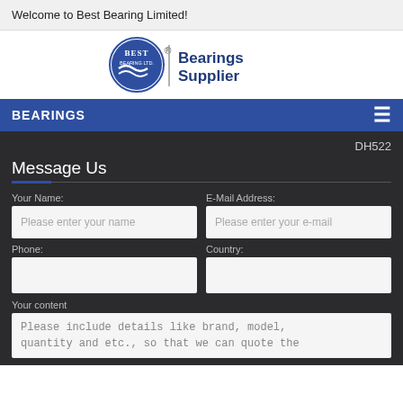Welcome to Best Bearing Limited!
[Figure (logo): Best Bearing Ltd circular logo with waves and text 'Bearings Supplier' in dark blue]
BEARINGS
DH522
Message Us
Your Name:
E-Mail Address:
Please enter your name
Please enter your e-mail
Phone:
Country:
Your content
Please include details like brand, model, quantity and etc., so that we can quote the